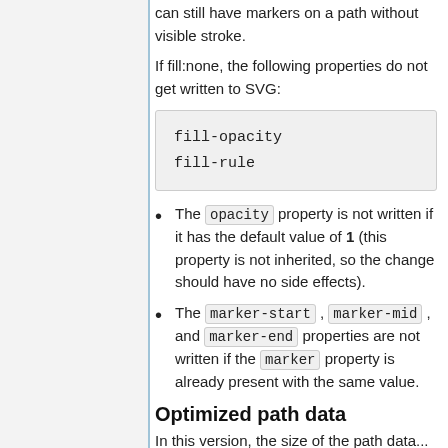can still have markers on a path without visible stroke.
If fill:none, the following properties do not get written to SVG:
The opacity property is not written if it has the default value of 1 (this property is not inherited, so the change should have no side effects).
The marker-start, marker-mid, and marker-end properties are not written if the marker property is already present with the same value.
Optimized path data
In this version, the size of the path data...